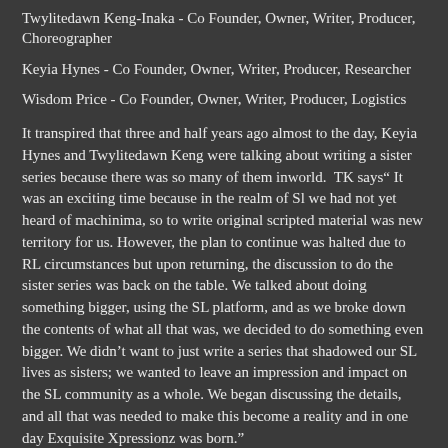Twylitedawn Keng-Inaka - Co Founder, Owner, Writer, Producer, Choreographer
Keyia Hynes - Co Founder, Owner, Writer, Producer, Researcher
Wisdom Price - Co Founder, Owner, Writer, Producer, Logistics
It transpired that three and half years ago almost to the day, Keyia Hynes and Twylitedawn Keng were talking about writing a sister series because there was so many of them inworld.  TK says” It was an exciting time because in the realm of Sl we had not yet heard of machinima, so to write original scripted material was new territory for us. However, the plan to continue was halted due to RL circumstances but upon returning, the discussion to do the sister series was back on the table. We talked about doing something bigger, using the SL platform, and as we broke down the contents of what all that was, we decided to do something even bigger. We didn’t want to just write a series that shadowed our SL lives as sisters; we wanted to leave an impression and impact on the SL community as a whole. We began discussing the details, and all that was needed to make this become a reality and in one day Exquisite Xpressionz was born.”